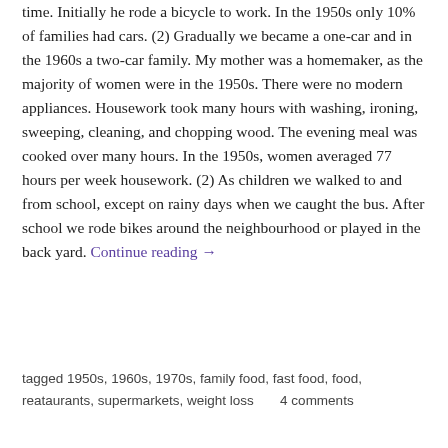time. Initially he rode a bicycle to work. In the 1950s only 10% of families had cars. (2) Gradually we became a one-car and in the 1960s a two-car family. My mother was a homemaker, as the majority of women were in the 1950s. There were no modern appliances. Housework took many hours with washing, ironing, sweeping, cleaning, and chopping wood. The evening meal was cooked over many hours. In the 1950s, women averaged 77 hours per week housework. (2) As children we walked to and from school, except on rainy days when we caught the bus. After school we rode bikes around the neighbourhood or played in the back yard. Continue reading →
tagged 1950s, 1960s, 1970s, family food, fast food, food, reataurants, supermarkets, weight loss     4 comments